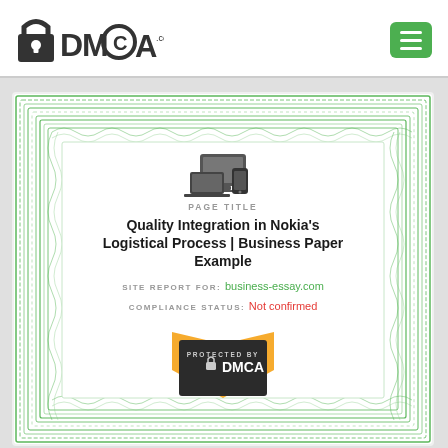[Figure (logo): DMCA.com logo with padlock icon]
[Figure (illustration): Green hamburger menu button]
[Figure (illustration): DMCA certificate with guilloche border, device icon, page title, site report, compliance status, and Protected By DMCA badge]
PAGE TITLE
Quality Integration in Nokia's Logistical Process | Business Paper Example
SITE REPORT FOR: business-essay.com
COMPLIANCE STATUS: Not confirmed
PROTECTED BY DMCA